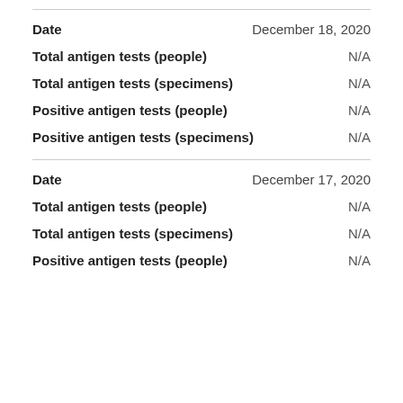| Field | Value |
| --- | --- |
| Date | December 18, 2020 |
| Total antigen tests (people) | N/A |
| Total antigen tests (specimens) | N/A |
| Positive antigen tests (people) | N/A |
| Positive antigen tests (specimens) | N/A |
| Date | December 17, 2020 |
| Total antigen tests (people) | N/A |
| Total antigen tests (specimens) | N/A |
| Positive antigen tests (people) | N/A |